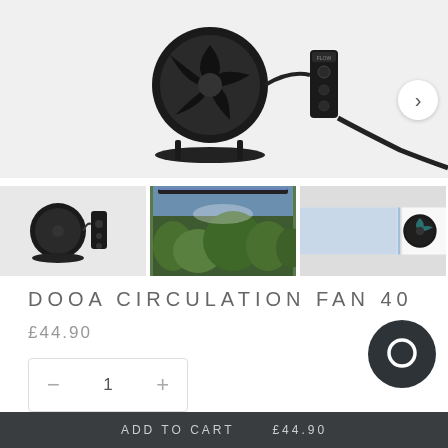[Figure (photo): Product photo of DOOA Circulation Fan 40 - black circular fan with controller unit on light gray background]
[Figure (photo): Thumbnail: Fan unit with controller cable on white background]
[Figure (photo): Thumbnail: Planted aquarium with green aquatic plants and mist]
[Figure (photo): Thumbnail: Fan mounted on aquarium glass edge, partial view]
DOOA CIRCULATION FAN 40
£44.90
— 1 +
ADD TO CART    £44.90